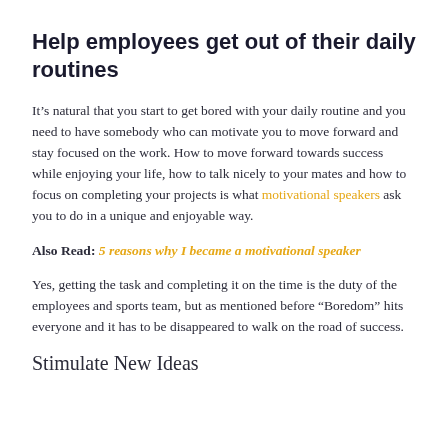Help employees get out of their daily routines
It’s natural that you start to get bored with your daily routine and you need to have somebody who can motivate you to move forward and stay focused on the work. How to move forward towards success while enjoying your life, how to talk nicely to your mates and how to focus on completing your projects is what motivational speakers ask you to do in a unique and enjoyable way.
Also Read: 5 reasons why I became a motivational speaker
Yes, getting the task and completing it on the time is the duty of the employees and sports team, but as mentioned before “Boredom” hits everyone and it has to be disappeared to walk on the road of success.
Stimulate New Ideas